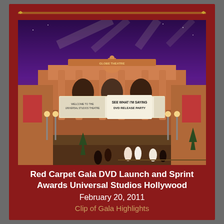[Figure (photo): Nighttime exterior of a grand theater building at Universal Studios Hollywood, with spotlights shining in the sky. The marquee reads 'SEE WHAT I'M SAYING DVD RELEASE PARTY'. People are gathered outside on a red carpet near rope barriers.]
Red Carpet Gala DVD Launch and Sprint Awards Universal Studios Hollywood
February 20, 2011
Clip of Gala Highlights